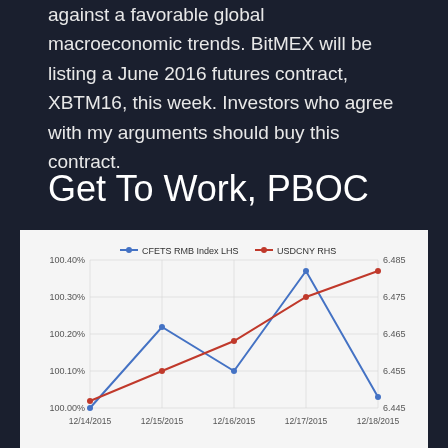against a favorable global macroeconomic trends. BitMEX will be listing a June 2016 futures contract, XBTM16, this week. Investors who agree with my arguments should buy this contract.
Get To Work, PBOC
[Figure (line-chart): ]